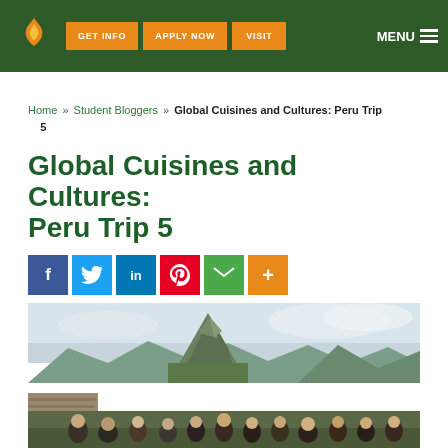GET INFO | APPLY NOW | VISIT | MENU
Home » Student Bloggers » Global Cuisines and Cultures: Peru Trip 5
Global Cuisines and Cultures: Peru Trip 5
[Figure (infographic): Social sharing buttons: Facebook, Twitter, LinkedIn, Pinterest, Email, More]
[Figure (photo): Group of students posing at Machu Picchu with the iconic mountain peak (Huayna Picchu) visible in the background under a cloudy sky]